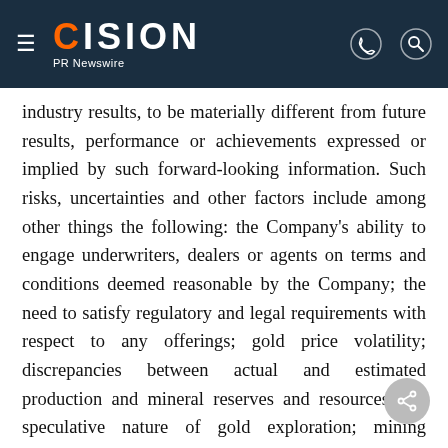CISION PR Newswire
industry results, to be materially different from future results, performance or achievements expressed or implied by such forward-looking information. Such risks, uncertainties and other factors include among other things the following: the Company's ability to engage underwriters, dealers or agents on terms and conditions deemed reasonable by the Company; the need to satisfy regulatory and legal requirements with respect to any offerings; gold price volatility; discrepancies between actual and estimated production and mineral reserves and resources; the speculative nature of gold exploration; mining operational and development risk; and regulatory risks. See our Annual Information Form for additional